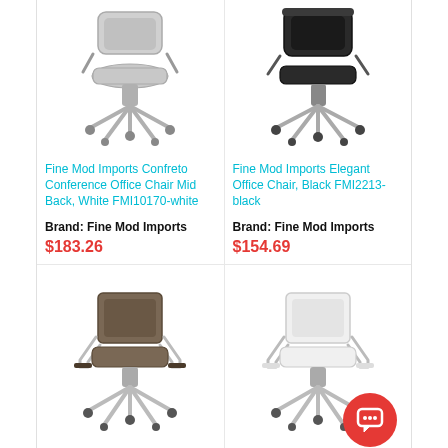[Figure (photo): Office chair - Fine Mod Imports Confreto Conference Office Chair Mid Back, White FMI10170-white. White/grey mid-back office chair with chrome base and casters.]
Fine Mod Imports Confreto Conference Office Chair Mid Back, White FMI10170-white
Brand: Fine Mod Imports
$183.26
[Figure (photo): Office chair - Fine Mod Imports Elegant Office Chair, Black FMI2213-black. Black office chair with chrome base and casters.]
Fine Mod Imports Elegant Office Chair, Black FMI2213-black
Brand: Fine Mod Imports
$154.69
[Figure (photo): Office chair - brown/taupe mid-back office chair with chrome frame, armrests and casters.]
[Figure (photo): Office chair - white mid-back office chair with chrome frame, armrests and casters.]